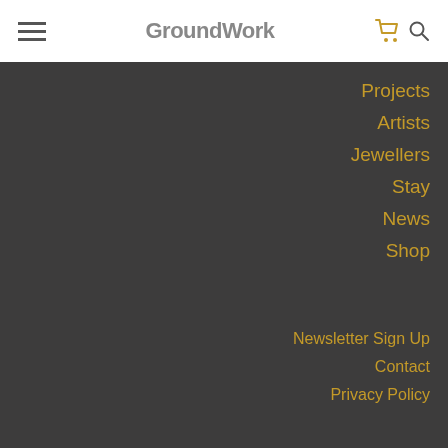GroundWork — navigation header with hamburger menu, logo, cart and search icons
Projects
Artists
Jewellers
Stay
News
Shop
Newsletter Sign Up
Contact
Privacy Policy